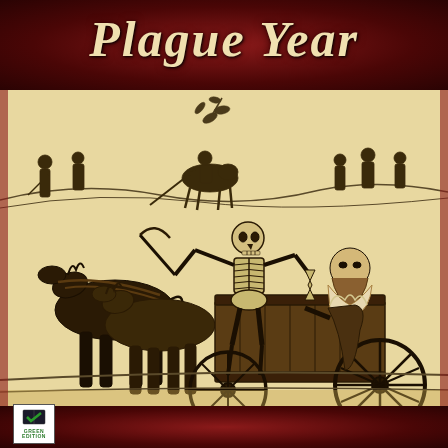Plague Year
[Figure (illustration): Woodcut-style black and white illustration on aged parchment/cream background depicting a medieval plague scene. A skeleton figure (personification of Death) sits in a horse-drawn cart or carriage, holding a scythe and an hourglass. Two horses pull the cart. A bearded nobleman or wealthy man rides in the carriage. In the background, various figures including people fleeing, a rider on horseback, and standing figures. The style is reminiscent of 16th-17th century woodcut prints.]
[Figure (logo): Green Edition badge/logo in bottom left corner: small white square box with a dark book/checkmark icon and the text GREEN EDITION in green letters.]